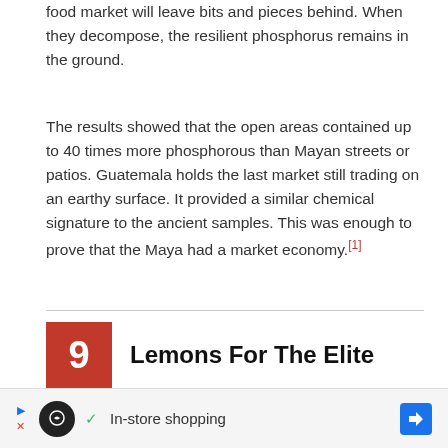food market will leave bits and pieces behind. When they decompose, the resilient phosphorus remains in the ground.
The results showed that the open areas contained up to 40 times more phosphorous than Mayan streets or patios. Guatemala holds the last market still trading on an earthy surface. It provided a similar chemical signature to the ancient samples. This was enough to prove that the Maya had a market economy.[1]
9  Lemons For The Elite
[Figure (photo): Close-up photograph of many yellow lemons]